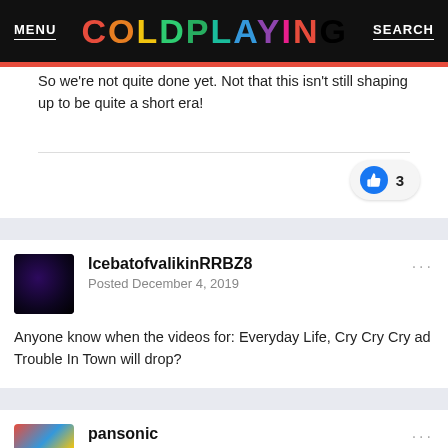MENU | COLDPLAYING | SEARCH
So we're not quite done yet. Not that this isn't still shaping up to be quite a short era!
IcebatofvalikinRRBZ8
Posted December 4, 2019
Anyone know when the videos for: Everyday Life, Cry Cry Cry ad Trouble In Town will drop?
pansonic
Posted December 4, 2019